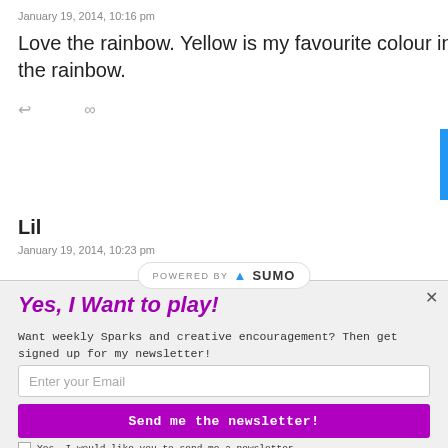January 19, 2014, 10:16 pm
Love the rainbow. Yellow is my favourite colour in the rainbow.
↩  ∞
Lil
January 19, 2014, 10:23 pm
Yes, I Want to play!
Want weekly Sparks and creative encouragement? Then get signed up for my newsletter!
Enter your Email
Send me the newsletter!
Yes, I would like you to send me a newsletter.